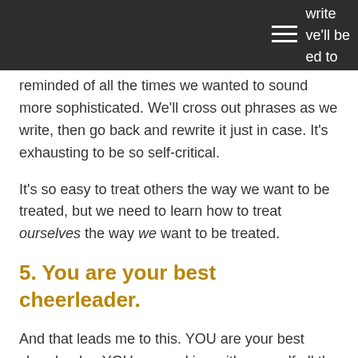write we'll be ed to
reminded of all the times we wanted to sound more sophisticated. We'll cross out phrases as we write, then go back and rewrite it just in case. It's exhausting to be so self-critical.
It's so easy to treat others the way we want to be treated, but we need to learn how to treat ourselves the way we want to be treated.
5. You are your best cheerleader.
And that leads me to this. YOU are your best cheerleader. YOU are working with yourself all the time. YOU see exactly how much improvement you make and when you make it. I have kept almost